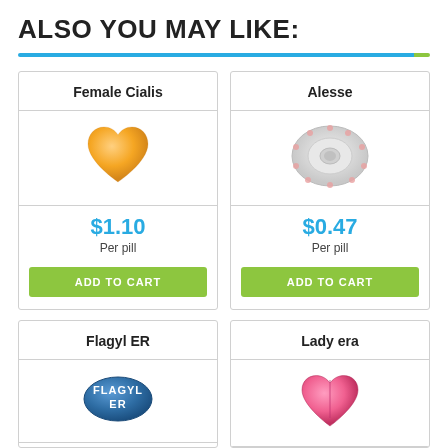ALSO YOU MAY LIKE:
[Figure (illustration): Orange heart-shaped pill representing Female Cialis]
Female Cialis
$1.10
Per pill
ADD TO CART
[Figure (illustration): Circular birth control pill pack representing Alesse]
Alesse
$0.47
Per pill
ADD TO CART
[Figure (illustration): Blue oval Flagyl ER tablet]
Flagyl ER
[Figure (illustration): Pink heart/teardrop shaped Lady era pill]
Lady era